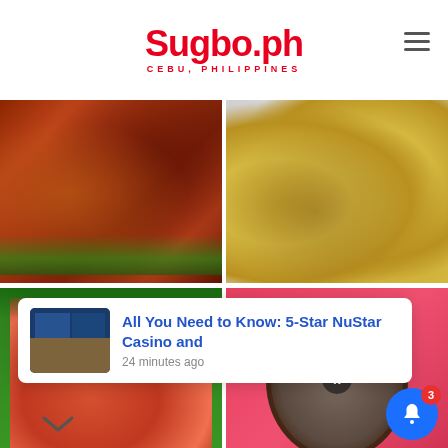Sugbo.ph — CEBU, PHILIPPINES
[Figure (photo): Close-up of lechon (roasted pig) skin with banana leaves beneath, showing reddish-brown crispy skin texture]
[Figure (photo): Baked scallops on the half shell with yellow cheese/butter topping, arranged on a white plate]
[Figure (photo): Fresh uncooked shrimp/prawns piled in a green container lined with banana leaves]
[Figure (photo): Sisig or similar chopped meat dish served on a dark plate on a colorful table, with X close button overlay]
All You Need to Know: 5-Star NuStar Casino and
24 minutes ago